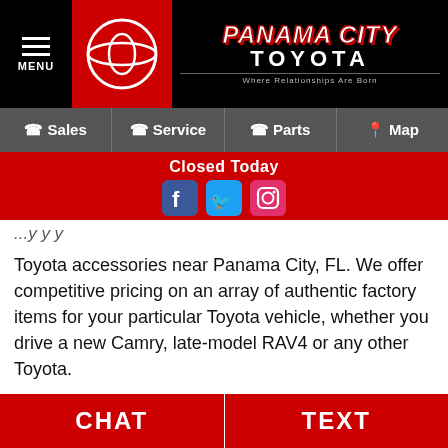MENU | Panama City Toyota — Where Relationships Are Born
Sales | Service | Parts | Map
Closed Today
Toyota accessories near Panama City, FL. We offer competitive pricing on an array of authentic factory items for your particular Toyota vehicle, whether you drive a new Camry, late-model RAV4 or any other Toyota.
Our Toyota parts center near Lynn Haven, FL stocks a wide variety of Toyota accessories, and we proudly offer parts and accessories specials that make our prices even more affordable!
CHAT | TEXT